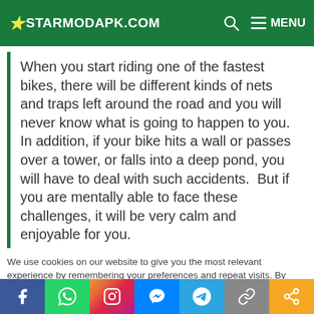STARMODAPK.COM
When you start riding one of the fastest bikes, there will be different kinds of nets and traps left around the road and you will never know what is going to happen to you. In addition, if your bike hits a wall or passes over a tower, or falls into a deep pond, you will have to deal with such accidents.  But if you are mentally able to face these challenges, it will be very calm and enjoyable for you.
We use cookies on our website to give you the most relevant experience by remembering your preferences and repeat visits. By clicking “Accept All”, you consent to the use of ALL the cookies. However, you may visit "Cookie Settings" to provide a controlled consent.
Cookie Settings
Accept All